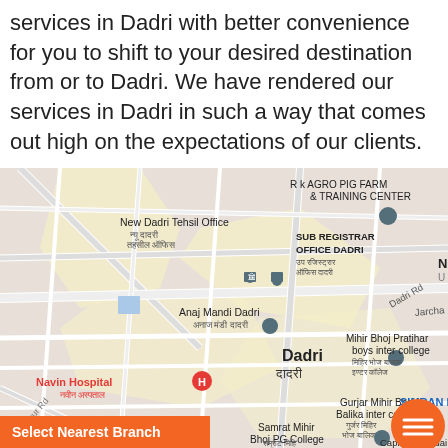services in Dadri with better convenience for you to shift to your desired destination from or to Dadri. We have rendered our services in Dadri in such a way that comes out high on the expectations of our clients.
[Figure (map): Google Maps screenshot showing Dadri area with landmarks: New Dadri Tehsil Office, R K Agro Pig Farm & Training Center, Sub Registrar Office Dadri, Anaj Mandi Dadri, Dadri label, Jarcha Rd, Dadri Rd, Mihir Bhoj Pratihar boys inter college, Navin Hospital, Gurjar Mihir Bhoj Balika inter collage, SIMRAN BH, GURJAR, Samrat Mihir Bhoj PG College, Capital Hyundai. Orange 'Select Nearest Branch' button at bottom left and orange FAB menu button at bottom right.]